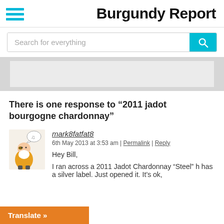Burgundy Report
Search for everything
[Figure (other): Gray advertisement banner area]
There is one response to “2011 jadot bourgogne chardonnay”
[Figure (illustration): Avatar image of a cartoon gnome/dwarf character with a speech bubble]
mark8fatfat8
6th May 2013 at 3:53 am | Permalink | Reply

Hey Bill,

I ran across a 2011 Jadot Chardonnay “Steel” h has a silver label. Just opened it. It’s ok,